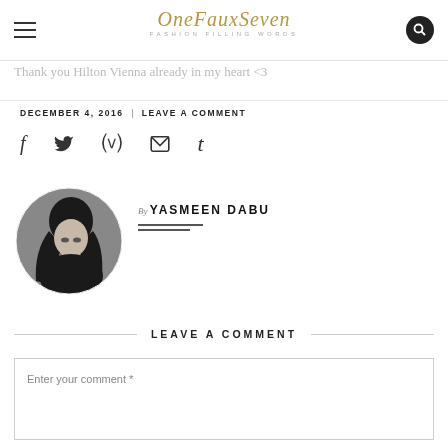OneFauxSeven FASHION FILLING WORDS
Thank you Hilton Vienna already in my heart <3
DECEMBER 4, 2016  |  LEAVE A COMMENT
[Figure (other): Social sharing icons: Facebook (f), Twitter (bird), Pinterest (p), Email (envelope), Tumblr (t)]
[Figure (photo): Circular black and white portrait photo of Yasmeen Dabu, a young woman with dark hair looking downward]
By YASMEEN DABU
LEAVE A COMMENT
Enter your comment *